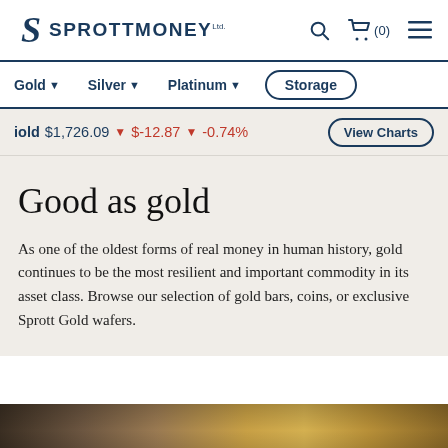[Figure (logo): Sprott Money logo with stylized S and text SPROTTMONEY ltd]
Gold ▾  Silver ▾  Platinum ▾  Storage
iold $1,726.09 ▼ $-12.87 ▼ -0.74%  View Charts
Good as gold
As one of the oldest forms of real money in human history, gold continues to be the most resilient and important commodity in its asset class. Browse our selection of gold bars, coins, or exclusive Sprott Gold wafers.
[Figure (photo): Gold bars and coins image strip at bottom of page]